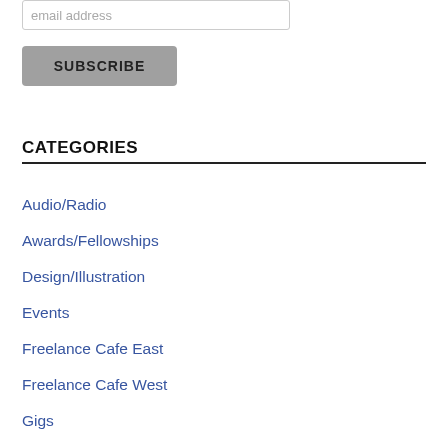email address
SUBSCRIBE
CATEGORIES
Audio/Radio
Awards/Fellowships
Design/Illustration
Events
Freelance Cafe East
Freelance Cafe West
Gigs